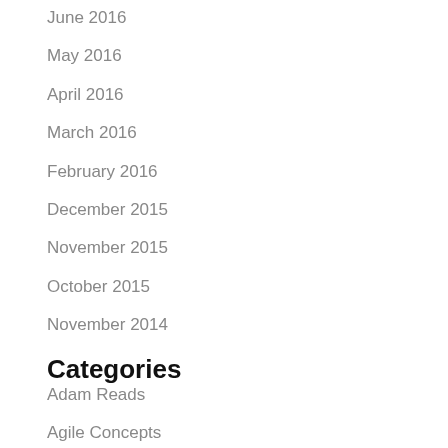June 2016
May 2016
April 2016
March 2016
February 2016
December 2015
November 2015
October 2015
November 2014
Categories
Adam Reads
Agile Concepts
Agile Documentation
Anti-Teaming Behaviour